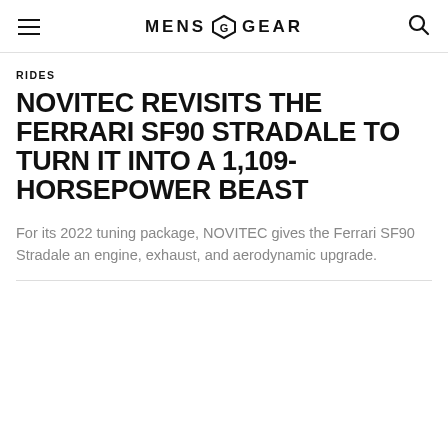MENS GEAR
RIDES
NOVITEC REVISITS THE FERRARI SF90 STRADALE TO TURN IT INTO A 1,109-HORSEPOWER BEAST
For its 2022 tuning package, NOVITEC gives the Ferrari SF90 Stradale an engine, exhaust, and aerodynamic upgrade.